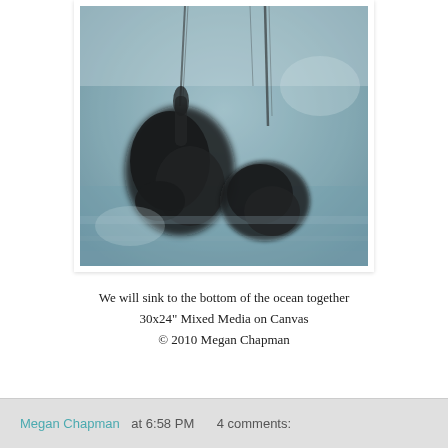[Figure (illustration): Abstract mixed media artwork in dark blue-grey tones showing two large dark amorphous shapes against a textured grey-blue background with vertical streaks, suggesting objects sinking underwater.]
We will sink to the bottom of the ocean together
30x24" Mixed Media on Canvas
© 2010 Megan Chapman
Megan Chapman at 6:58 PM    4 comments: